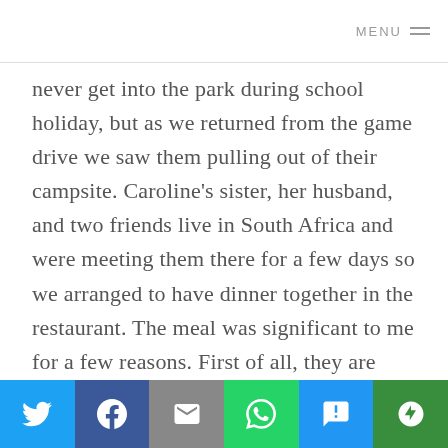MENU
never get into the park during school holiday, but as we returned from the game drive we saw them pulling out of their campsite. Caroline's sister, her husband, and two friends live in South Africa and were meeting them there for a few days so we arranged to have dinner together in the restaurant. The meal was significant to me for a few reasons. First of all, they are great friends and we love being with them, but the other people we met from South Africa were great story tellers and one of them had traveled in the states for four months in 1977. Another had lived in Ohio for a couple of years. They all were talking